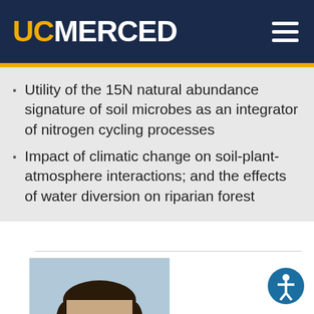UC MERCED
Utility of the 15N natural abundance signature of soil microbes as an integrator of nitrogen cycling processes
Impact of climatic change on soil-plant-atmosphere interactions; and the effects of water diversion on riparian forest
[Figure (photo): Headshot photo of a man with dark hair, facing forward, light blue background]